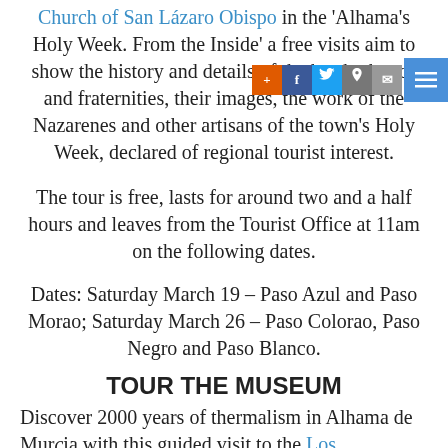Church of San Lázaro Obispo in the 'Alhama's Holy Week. From the Inside' a free visits aim to show the history and details of the brotherhoods and fraternities, their images, the work of the Nazarenes and other artisans of the town's Holy Week, declared of regional tourist interest.
The tour is free, lasts for around two and a half hours and leaves from the Tourist Office at 11am on the following dates.
Dates: Saturday March 19 – Paso Azul and Paso Morao; Saturday March 26 – Paso Colorao, Paso Negro and Paso Blanco.
TOUR THE MUSEUM
Discover 2000 years of thermalism in Alhama de Murcia with this guided visit to the Los